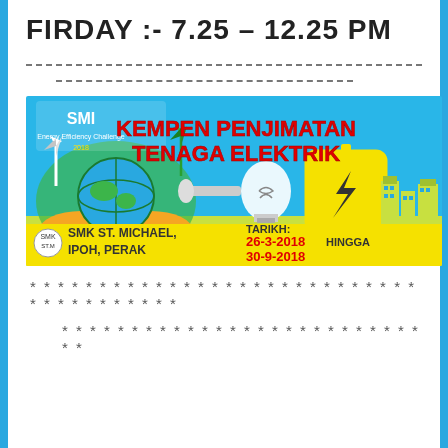FIRDAY :- 7.25 – 12.25 PM
[Figure (illustration): Kempen Penjimatan Tenaga Elektrik promotional banner for SMK St. Michael, Ipoh, Perak. SMI Energy Efficiency Challenge 2018. Dates: 26-3-2018 hingga 30-9-2018. Features hands holding a globe, wind turbines, a light bulb, a battery with lightning bolt, and city skyline.]
* * * * * * * * * * * * * * * * * * * * * * * * * * * * * * * * * * * * * * *
* * * * * * * * * * * * * * * * * * * * * * * * * * * *